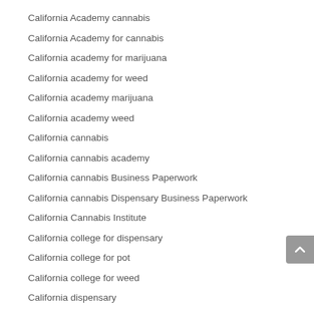California Academy cannabis
California Academy for cannabis
California academy for marijuana
California academy for weed
California academy marijuana
California academy weed
California cannabis
California cannabis academy
California cannabis Business Paperwork
California cannabis Dispensary Business Paperwork
California Cannabis Institute
California college for dispensary
California college for pot
California college for weed
California dispensary